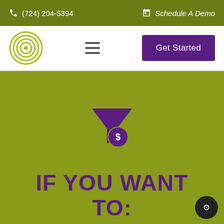(724) 204-5394   Schedule A Demo
[Figure (logo): Circular concentric rings logo in olive/gold color, navigation hamburger menu icon, and Get Started purple button]
[Figure (illustration): Purple funnel with dollar sign coin icon on olive green background]
IF YOU WANT TO: